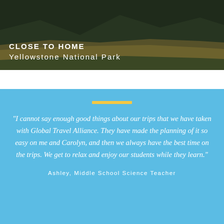[Figure (photo): Landscape photo of Yellowstone National Park with dark forested mountains and golden grasses, overlaid with text]
CLOSE TO HOME
Yellowstone National Park
"I cannot say enough good things about our trips that we have taken with Global Travel Alliance. They have made the planning of it so easy on me and Carolyn, and then we always have the best time on the trips. We get to relax and enjoy our students while they learn."
Ashley, Middle School Science Teacher